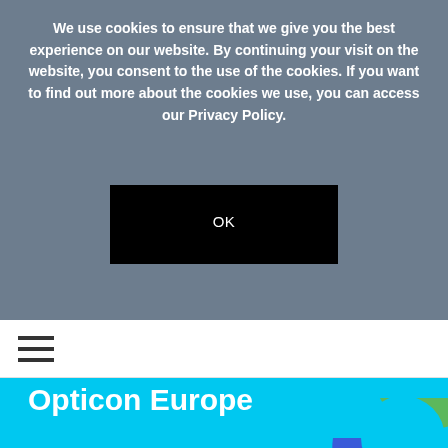We use cookies to ensure that we give you the best experience on our website. By continuing your visit on the website, you consent to the use of the cookies. If you want to find out more about the cookies we use, you can access our Privacy Policy.
OK
[Figure (other): Hamburger menu icon (three horizontal lines)]
Opticon Europe
Wed, Sep 22, 2021, 11:00 AM (GMT)
[Figure (other): Social media icons: Facebook, Twitter, LinkedIn, Email]
Virtual event
[Figure (donut-chart): Partial donut/ring chart visible in bottom-right with segments in green, purple, blue, and yellow colors]